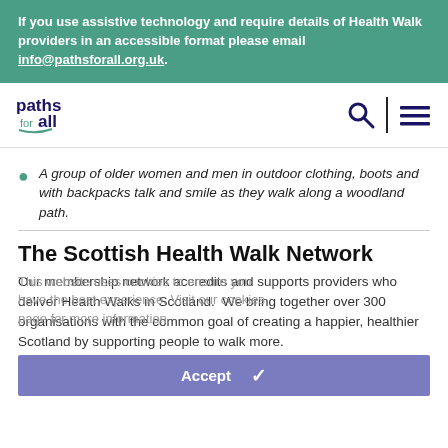If you use assistive technology and require details of Health Walk providers in an accessible format please email info@pathsforall.org.uk.
[Figure (logo): Paths for all logo — text 'paths for all' with a stylized walking figure]
A group of older women and men in outdoor clothing, boots and with backpacks talk and smile as they walk along a woodland path.
The Scottish Health Walk Network
Our membership network accredits and supports providers who deliver Health Walks in Scotland. We bring together over 300 organisations with the common goal of creating a happier, healthier Scotland by supporting people to walk more.